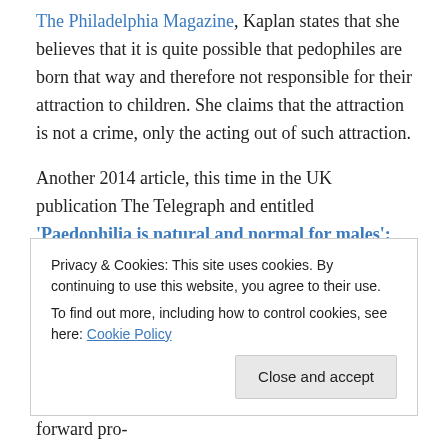The Philadelphia Magazine, Kaplan states that she believes that it is quite possible that pedophiles are born that way and therefore not responsible for their attraction to children. She claims that the attraction is not a crime, only the acting out of such attraction.
Another 2014 article, this time in the UK publication The Telegraph and entitled 'Paedophilia is natural and normal for males': How some university academics make the case for paedophiles at summer conferences, lamented the presence of an openly pro-
Privacy & Cookies: This site uses cookies. By continuing to use this website, you agree to their use. To find out more, including how to control cookies, see here: Cookie Policy
and publishers who were knowingly putting forward pro-